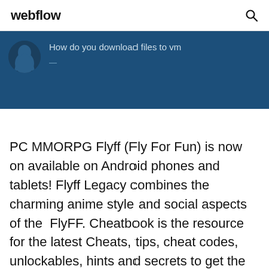webflow
[Figure (screenshot): Dark blue banner with avatar icon and text 'How do you download files to vm' on a teal/navy background]
PC MMORPG Flyff (Fly For Fun) is now on available on Android phones and tablets! Flyff Legacy combines the charming anime style and social aspects of the FlyFF. Cheatbook is the resource for the latest Cheats, tips, cheat codes, unlockables, hints and secrets to get the edge to win.